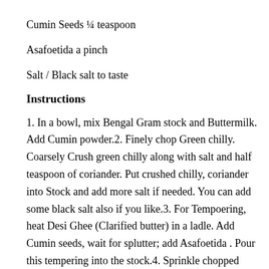Cumin Seeds ¼ teaspoon
Asafoetida a pinch
Salt / Black salt to taste
Instructions
1. In a bowl, mix Bengal Gram stock and Buttermilk. Add Cumin powder.2. Finely chop Green chilly. Coarsely Crush green chilly along with salt and half teaspoon of coriander. Put crushed chilly, coriander into Stock and add more salt if needed. You can add some black salt also if you like.3. For Tempoering, heat Desi Ghee (Clarified butter) in a ladle. Add Cumin seeds, wait for splutter; add Asafoetida . Pour this tempering into the stock.4. Sprinkle chopped coriander. Kalan is served at room temperature. Serve as a soup or as an appetizer or along with rice.